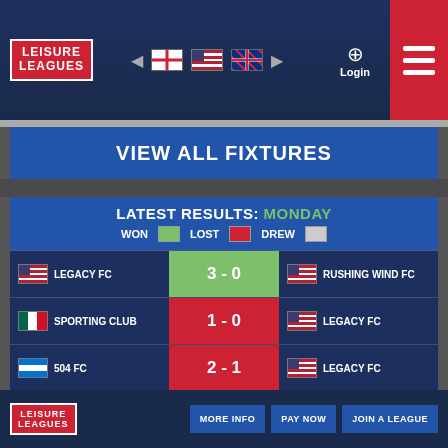[Figure (screenshot): Leisure Leagues website screenshot showing navigation bar with logo, language flags, login button, and hamburger menu]
VIEW ALL FIXTURES
LATEST RESULTS: MONDAY
WON   LOST   DREW
| Home Team | Score | Away Team |
| --- | --- | --- |
| LEGACY FC | 3 - 0 | RUSHING WIND FC |
| SPORTING CLUB | 1 - 0 | LEGACY FC |
| 504 FC | 2 - 1 | LEGACY FC |
| CAYMAN BRAC FC | 2 - 1 | LEGACY FC |
MORE INFO   PAY NOW   JOIN A LEAGUE